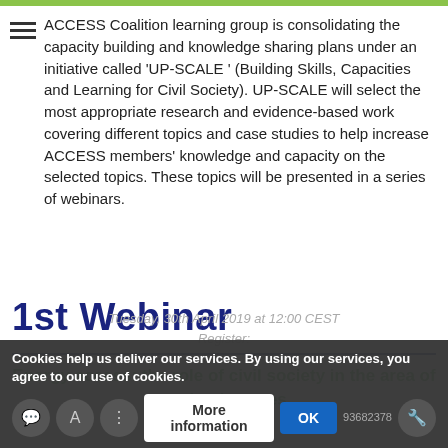ACCESS Coalition learning group is consolidating the capacity building and knowledge sharing plans under an initiative called 'UP-SCALE ' (Building Skills, Capacities and Learning for Civil Society). UP-SCALE will select the most appropriate research and evidence-based work covering different topics and case studies to help increase ACCESS members' knowledge and capacity on the selected topics. These topics will be presented in a series of webinars.
1st Webinar
Energy access: the role of civil society in the area of productive uses.
Tuesday, 30th April 2019 at 12:00 CEST
Register:
Cookies help us deliver our services. By using our services, you agree to our use of cookies.